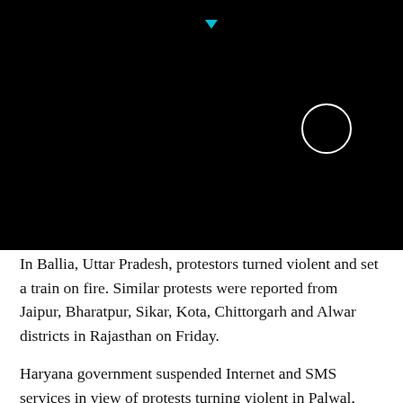[Figure (screenshot): Black video player area with a white circular play button icon in the center-left and a small cyan downward triangle at the top center.]
In Ballia, Uttar Pradesh, protestors turned violent and set a train on fire. Similar protests were reported from Jaipur, Bharatpur, Sikar, Kota, Chittorgarh and Alwar districts in Rajasthan on Friday.
Haryana government suspended Internet and SMS services in view of protests turning violent in Palwal, Rewari and Mahendragarh.
A massive protest was held at ITO in Delhi by Desh Ki Baat Foundation, CYSS, AISA, RYA, SFI, SVS and Aam Aadmi Party Youth Wing, even as Delhi Metro decided to shut stations at Delhi Gate and Jama Masjid as a